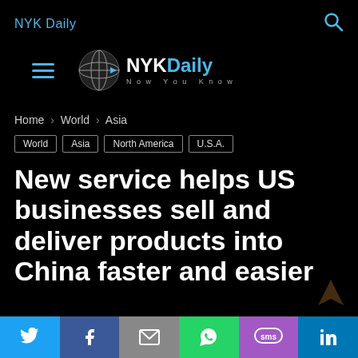NYK Daily
[Figure (logo): NYKDaily globe logo with text 'NYKDaily Now You Know' and hamburger menu icon]
Home › World › Asia
World
Asia
North America
U.S.A.
New service helps US businesses sell and deliver products into China faster and easier
Twitter | Facebook | Email | WhatsApp | SMS | LinkedIn